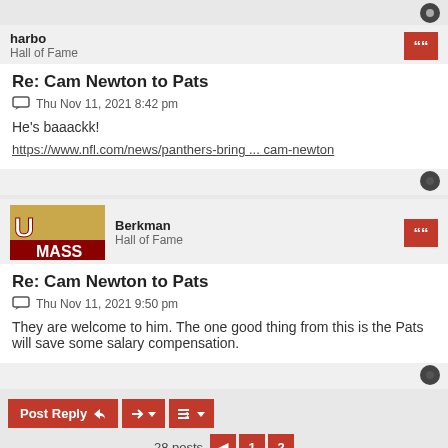harbo
Hall of Fame
Re: Cam Newton to Pats
Thu Nov 11, 2021 8:42 pm
He's baaackk!
https://www.nfl.com/news/panthers-bring ... cam-newton
Berkman
Hall of Fame
Re: Cam Newton to Pats
Thu Nov 11, 2021 9:50 pm
They are welcome to him. The one good thing from this is the Pats will save some salary compensation.
28 posts  1  2